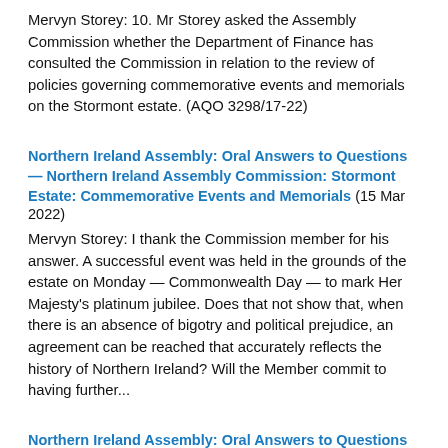Mervyn Storey: 10. Mr Storey asked the Assembly Commission whether the Department of Finance has consulted the Commission in relation to the review of policies governing commemorative events and memorials on the Stormont estate. (AQO 3298/17-22)
Northern Ireland Assembly: Oral Answers to Questions — Northern Ireland Assembly Commission: Stormont Estate: Commemorative Events and Memorials (15 Mar 2022)
Mervyn Storey: I thank the Commission member for his answer. A successful event was held in the grounds of the estate on Monday — Commonwealth Day — to mark Her Majesty's platinum jubilee. Does that not show that, when there is an absence of bigotry and political prejudice, an agreement can be reached that accurately reflects the history of Northern Ireland? Will the Member commit to having further...
Northern Ireland Assembly: Oral Answers to Questions — Health: Hospital Car Parking Charges (15 Mar 2022)